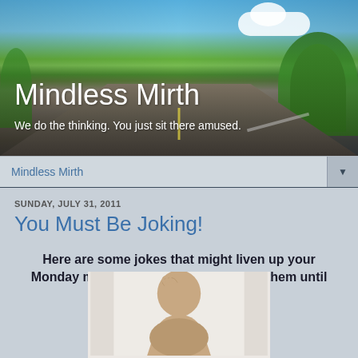[Figure (photo): Blog header banner image showing a road stretching into the distance with blue sky, clouds, green trees on the right, and yellow field on the left. Text overlay shows blog title and subtitle.]
Mindless Mirth
We do the thinking. You just sit there amused.
Mindless Mirth
SUNDAY, JULY 31, 2011
You Must Be Joking!
Here are some jokes that might liven up your Monday morning if you can remember them until then.
[Figure (photo): Partial photo of a bald person with their hand on their head, shown from shoulders up, on a white/light background.]